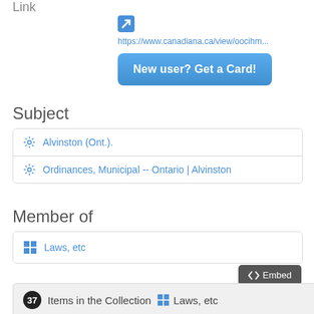Link
[Figure (screenshot): Blue arrow/link icon]
https://www.canadiana.ca/view/oocihm...
New user? Get a Card!
Subject
Alvinston (Ont.).
Ordinances, Municipal -- Ontario | Alvinston
Member of
Laws, etc
</> Embed
37 Items in the Collection  Laws, etc